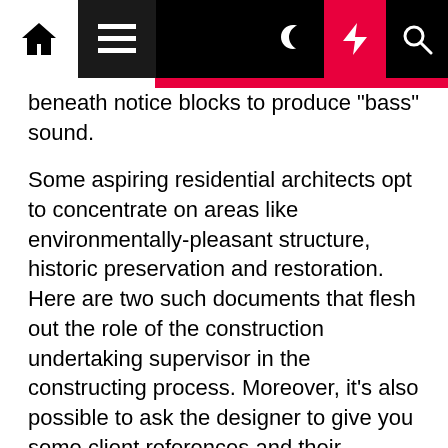Navigation bar with home, menu, moon, bolt, and search icons
beneath notice blocks to produce "bass" sound.
Some aspiring residential architects opt to concentrate on areas like environmentally-pleasant structure, historic preservation and restoration. Here are two such documents that flesh out the role of the construction undertaking supervisor in the constructing process. Moreover, it's also possible to ask the designer to give you some client references and their designing portfolio to get a better concept about their companies.
Sometimes, it starts with a concept and ends with a fully developed property ready to be bought or leased. We make use of eco-acutely aware business and installation practices and, mixed with our local roofing experience, Finest Roof & Gutter understand the wants of the Denver roofing market higher than